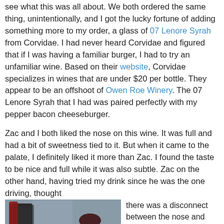see what this was all about. We both ordered the same thing, unintentionally, and I got the lucky fortune of adding something more to my order, a glass of 07 Lenore Syrah from Corvidae. I had never heard Corvidae and figured that if I was having a familiar burger, I had to try an unfamiliar wine. Based on their website, Corvidae specializes in wines that are under $20 per bottle. They appear to be an offshoot of Owen Roe Winery. The 07 Lenore Syrah that I had was paired perfectly with my pepper bacon cheeseburger.
Zac and I both liked the nose on this wine. It was full and had a bit of sweetness tied to it. But when it came to the palate, I definitely liked it more than Zac. I found the taste to be nice and full while it was also subtle. Zac on the other hand, having tried my drink since he was the one driving, thought there was a disconnect between the nose and palate. He didn't think the way it was on the tongue mirrored what was on the nose. In his own words, "If I like the name better than the wine, that is a problem."
[Figure (photo): Photo of a burger, fries, and a glass of red wine on a restaurant table]